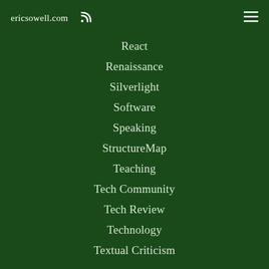ericsowell.com
React
Renaissance
Silverlight
Software
Speaking
StructureMap
Teaching
Tech Community
Tech Review
Technology
Textual Criticism